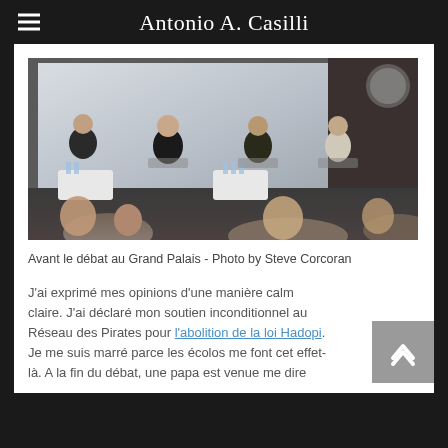Antonio A. Casilli
[Figure (photo): Panel discussion at the Grand Palais with four speakers seated on stage in front of a large projection screen, audience visible in foreground]
Avant le débat au Grand Palais - Photo by Steve Corcoran
J'ai exprimé mes opinions d'une manière calme et claire. J'ai déclaré mon soutien inconditionnel au Réseau des Pirates pour l'abolition de la loi Hadopi. Je me suis marré parce les ecolos me font cet effet-là. A la fin du débat, une papa est venue me dire